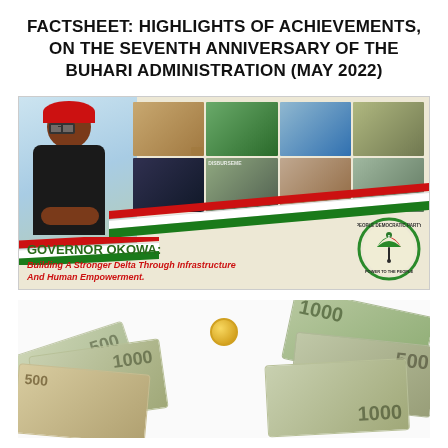FACTSHEET: HIGHLIGHTS OF ACHIEVEMENTS, ON THE SEVENTH ANNIVERSARY OF THE BUHARI ADMINISTRATION (MAY 2022)
[Figure (photo): Banner image with Governor Okowa on left, photo collage of infrastructure projects on right, PDP party logo, tricolor ribbon in green/white/red, and text: GOVERNOR OKOWA: Building A Stronger Delta Through Infrastructure And Human Empowerment.]
[Figure (photo): Photo of Nigerian Naira banknotes (500 and 1000 denominations) spread out on a white background]